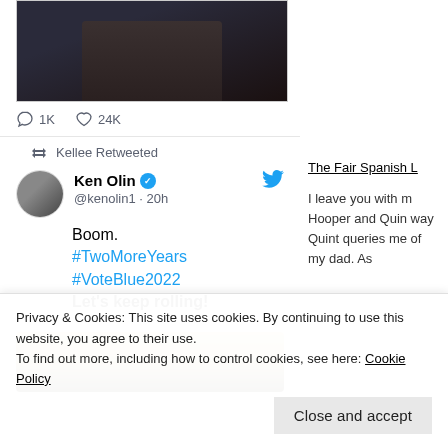[Figure (screenshot): Dark toned screenshot/image at top of tweet showing a person seated, partially visible]
1K  24K
Kellee Retweeted
Ken Olin @kenolin1 · 20h
Boom.
#TwoMoreYears
#VoteBlue2022
Let's keep rolling!
[Figure (screenshot): Partial image at bottom of tweet card, showing interior scene]
The Fair Spanish L
I leave you with m Hooper and Quin way Quint queries me of my dad. As
Privacy & Cookies: This site uses cookies. By continuing to use this website, you agree to their use.
To find out more, including how to control cookies, see here: Cookie Policy
Close and accept